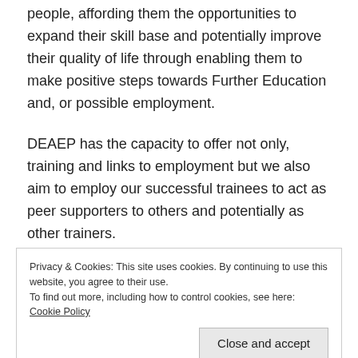people, affording them the opportunities to expand their skill base and potentially improve their quality of life through enabling them to make positive steps towards Further Education and, or possible employment.
DEAEP has the capacity to offer not only, training and links to employment but we also aim to employ our successful trainees to act as peer supporters to others and potentially as other trainers.
DEAEP are currently running a Level 3 Peer Support in
Privacy & Cookies: This site uses cookies. By continuing to use this website, you agree to their use.
To find out more, including how to control cookies, see here: Cookie Policy
disadvantaged groups.